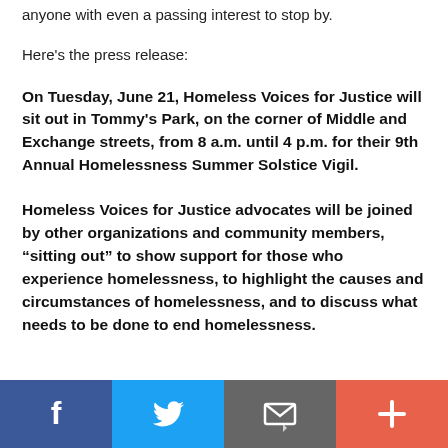anyone with even a passing interest to stop by.
Here's the press release:
On Tuesday, June 21, Homeless Voices for Justice will sit out in Tommy's Park, on the corner of Middle and Exchange streets, from 8 a.m. until 4 p.m. for their 9th Annual Homelessness Summer Solstice Vigil.
Homeless Voices for Justice advocates will be joined by other organizations and community members, “sitting out” to show support for those who experience homelessness, to highlight the causes and circumstances of homelessness, and to discuss what needs to be done to end homelessness.
[Figure (infographic): Social media sharing bar with four buttons: Facebook (blue), Twitter (light blue), Email/envelope (grey), and plus/more (orange-red)]